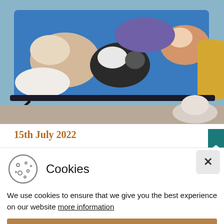[Figure (photo): Photo of several puppies or kittens resting together in a blue portable pet bed/cot on a floor, with some fabric or stuffed animals visible to the right.]
15th July 2022
...Glendale Park
A very special visit
We use cookies to ensure that we give you the best experience on our website more information
ACCEPT